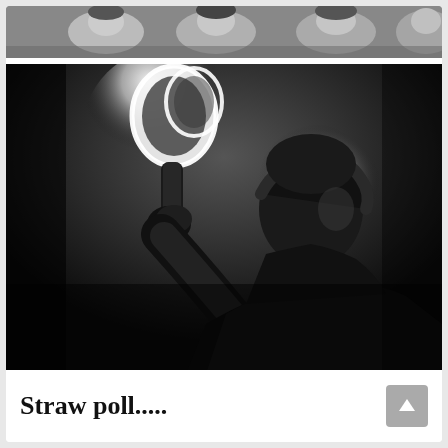[Figure (photo): Black and white strip photo at top showing partial faces of people]
[Figure (photo): Black and white dramatic concert/performance photo of a person silhouetted against bright backlight, raising their arm holding what appears to be a tambourine or maraca, with a glowing halo effect around their head and the instrument]
Straw poll.....